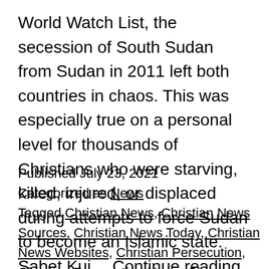World Watch List, the secession of South Sudan from Sudan in 2011 left both countries in chaos. This was especially true on a personal level for thousands of Christians who were starving, killed, injured, or displaced during attempts to force Sudan to become an Islamic state. Sabet Kuj… Continue reading
Published July 23, 2021
Categorized as News
Tagged Christian News, Christian News Sources, Christian News Today, Christian News Websites, Christian Persecution, Christian Persecution News, Christian Persecution Today, Christian World News, Current Human Rights Issues, Define Social Injustice, Examples Of Social